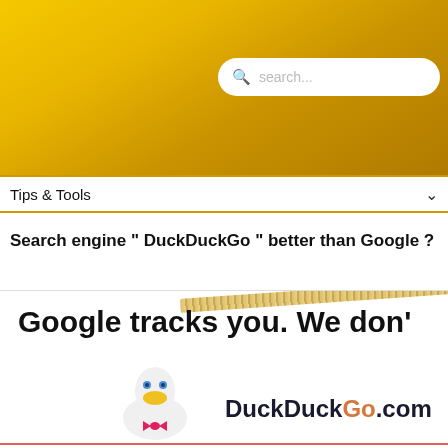[Figure (screenshot): Yellow/gold gradient header banner of a website]
[Figure (screenshot): Search box with placeholder text 'search...' on the golden header]
[Figure (screenshot): Navigation bar with 'Tips & Tools' dropdown menu]
Search engine " DuckDuckGo " better than Google ?
[Figure (screenshot): DuckDuckGo advertisement image showing 'Google tracks you. We don't' text with DuckDuckGo duck mascot and DuckDuckGo.com branding]
The alternative DuckDuckGo - search engine has 4 million daily